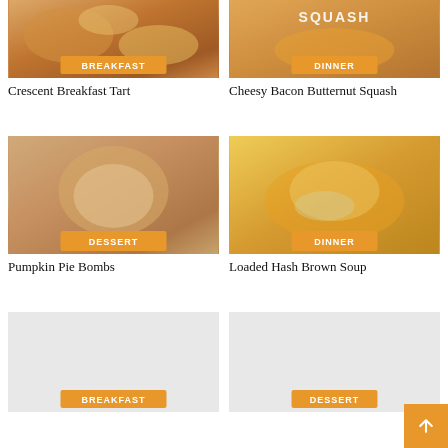[Figure (photo): Crescent Breakfast Tart food photo with BREAKFAST badge]
[Figure (photo): Cheesy Bacon Butternut Squash food photo with DINNER badge]
Crescent Breakfast Tart
Cheesy Bacon Butternut Squash
[Figure (photo): Pumpkin Pie Bombs food photo with DESSERT badge]
[Figure (photo): Loaded Hash Brown Soup food photo with DINNER badge]
Pumpkin Pie Bombs
Loaded Hash Brown Soup
[Figure (photo): Placeholder food photo with BREAKFAST badge]
[Figure (photo): Placeholder food photo with DESSERT badge]